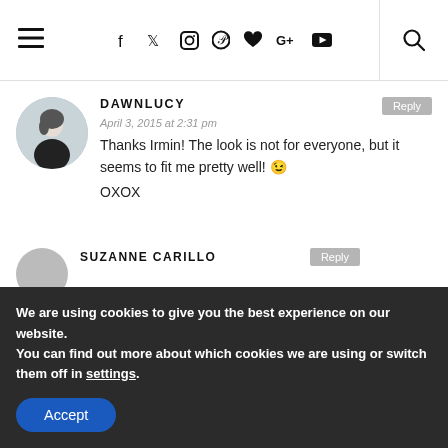Navigation bar with hamburger menu, social icons (Facebook, Twitter, Instagram, Pinterest, Heart, Google+, YouTube), and search icon
DAWNLUCY
April 3, 2015 at 2:31 pm
Thanks Irmin! The look is not for everyone, but it seems to fit me pretty well! 😉
OXOX
SUZANNE CARILLO
We are using cookies to give you the best experience on our website.
You can find out more about which cookies we are using or switch them off in settings.
Accept